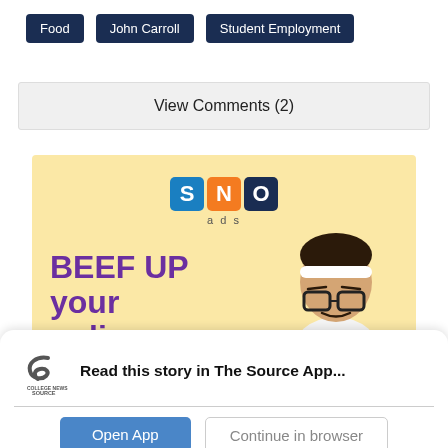Food
John Carroll
Student Employment
View Comments (2)
[Figure (infographic): SNO ads promotional banner with 'BEEF UP your online' text in purple and a person holding purple dumbbells on yellow background]
Read this story in The Source App...
Open App   Continue in browser